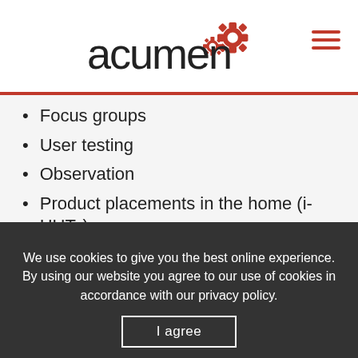acumen
Focus groups
User testing
Observation
Product placements in the home (i-HUTs)
While all of the above can be used to gather specific information, focus groups and interviews in particular tend to be used to elicit explanatory information. They are both examples of qualitative market research, where the questions are open and the insights from participants are
We use cookies to give you the best online experience. By using our website you agree to our use of cookies in accordance with our privacy policy.
I agree